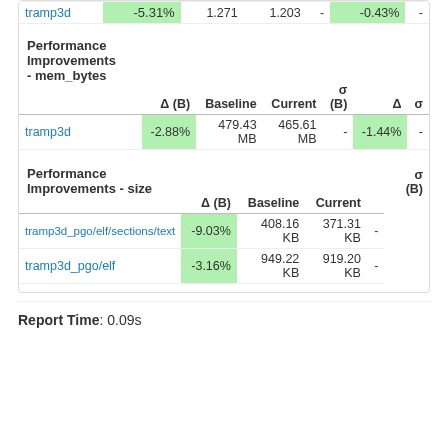|  | Δ (B) | Baseline | Current | σ (B) | Δ | σ |
| --- | --- | --- | --- | --- | --- | --- |
| tramp3d | -5.31% | 1.271 | 1.203 | - | -0.43% | - |
| Performance Improvements - mem_bytes | Δ (B) | Baseline | Current | σ (B) | Δ | σ |
| --- | --- | --- | --- | --- | --- | --- |
| tramp3d | -2.88% | 479.43 MB | 465.61 MB | - | -1.44% | - |
| Performance Improvements - size | Δ (B) | Baseline | Current | σ (B) |
| --- | --- | --- | --- | --- |
| tramp3d_pgo/elf/sections/text | -9.03% | 408.16 KB | 371.31 KB | - |
| tramp3d_pgo/elf | -3.16% | 949.22 KB | 919.20 KB | - |
Report Time: 0.09s